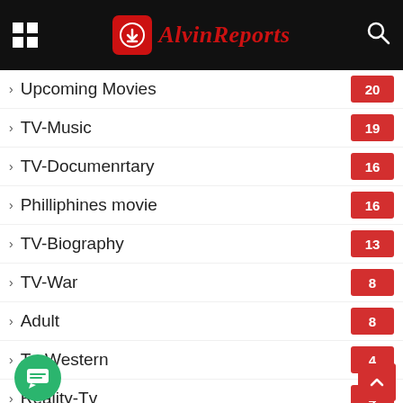AlvinReports
Upcoming Movies 20
TV-Music 19
TV-Documenrtary 16
Philliphines movie 16
TV-Biography 13
TV-War 8
Adult 8
Tv-Western 4
Reality-Tv 4
WWE 3
Year
2021 163